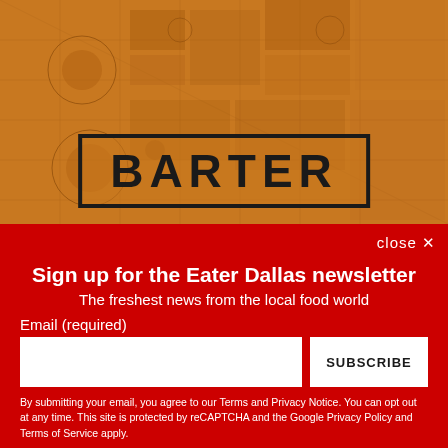[Figure (illustration): Orange-tinted aerial/map image background with geometric field patterns, overlaid with a black-bordered box containing the word BARTER in large bold block letters]
close ✕
Sign up for the Eater Dallas newsletter
The freshest news from the local food world
Email (required)
SUBSCRIBE
By submitting your email, you agree to our Terms and Privacy Notice. You can opt out at any time. This site is protected by reCAPTCHA and the Google Privacy Policy and Terms of Service apply.